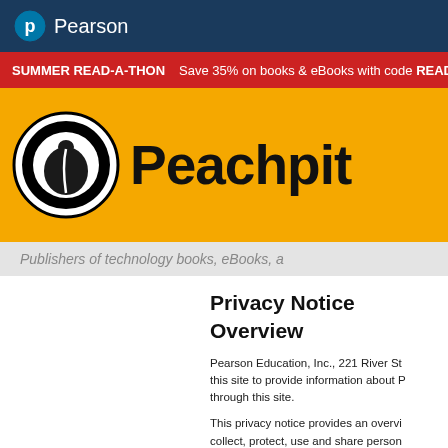Pearson
SUMMER READ-A-THON   Save 35% on books & eBooks with code READ-A
[Figure (logo): Peachpit logo with peach icon and wordmark on yellow background, with subtitle: Publishers of technology books, eBooks, a]
Privacy Notice
Overview
Pearson Education, Inc., 221 River St... this site to provide information about P... through this site.
This privacy notice provides an overvi... collect, protect, use and share person... that other Pearson websites and onlin...